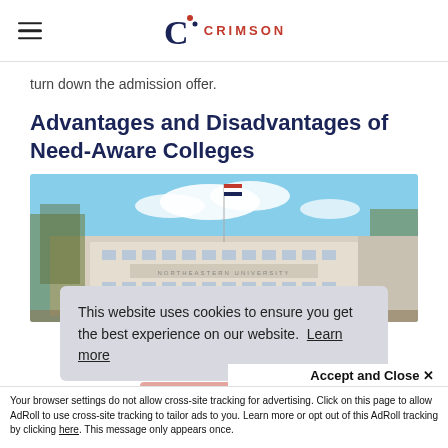Crimson Education
turn down the admission offer.
Advantages and Disadvantages of Need-Aware Colleges
[Figure (photo): Photo of Northeastern University building facade with flag and trees in foreground]
This website uses cookies to ensure you get the best experience on our website. Learn more
Accept and Close ✕
Your browser settings do not allow cross-site tracking for advertising. Click on this page to allow AdRoll to use cross-site tracking to tailor ads to you. Learn more or opt out of this AdRoll tracking by clicking here. This message only appears once.